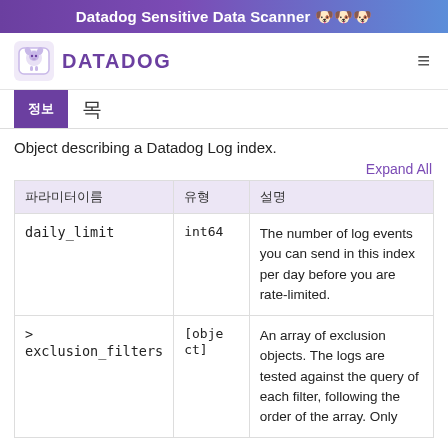Datadog Sensitive Data Scanner 🐶
[Figure (logo): Datadog logo with dog icon and DATADOG text in purple]
정보 | 목
Object describing a Datadog Log index.
Expand All
| 파라미터이름 | 유형 | 설명 |
| --- | --- | --- |
| daily_limit | int64 | The number of log events you can send in this index per day before you are rate-limited. |
| > exclusion_filters | [object] | An array of exclusion objects. The logs are tested against the query of each filter, following the order of the array. Only |